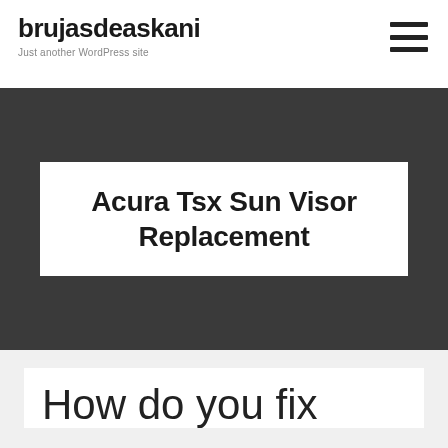brujasdeaskani
Just another WordPress site
Acura Tsx Sun Visor Replacement
How do you fix